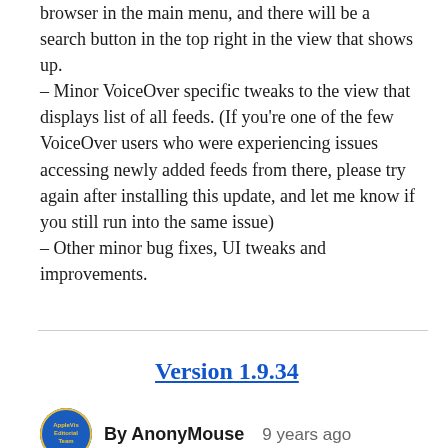browser in the main menu, and there will be a search button in the top right in the view that shows up.
– Minor VoiceOver specific tweaks to the view that displays list of all feeds. (If you're one of the few VoiceOver users who were experiencing issues accessing newly added feeds from there, please try again after installing this update, and let me know if you still run into the same issue)
– Other minor bug fixes, UI tweaks and improvements.
Version 1.9.34
By AnonyMouse   9 years ago